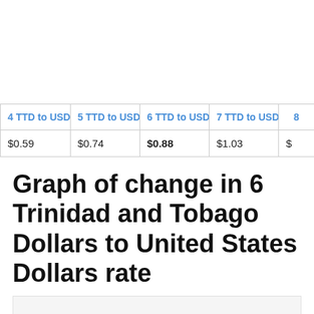| 4 TTD to USD | 5 TTD to USD | 6 TTD to USD | 7 TTD to USD | 8… |
| --- | --- | --- | --- | --- |
| $0.59 | $0.74 | $0.88 | $1.03 | $… |
Graph of change in 6 Trinidad and Tobago Dollars to United States Dollars rate
[Figure (other): Chart area with period selector showing 'Select the period for plotting the chart:' label and a Month dropdown button]